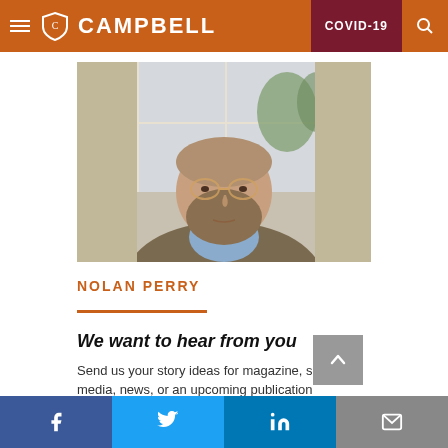CAMPBELL | COVID-19
[Figure (photo): Portrait photo of Nolan Perry, a bearded man with glasses wearing a light blue shirt and brown jacket, seated indoors near a window with greenery visible.]
NOLAN PERRY
We want to hear from you
Send us your story ideas for magazine, social media, news, or an upcoming publication
Facebook | Twitter | LinkedIn | Email